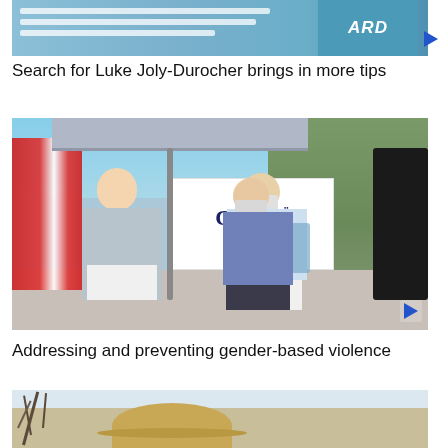[Figure (screenshot): Partial video thumbnail showing a REWARD sign and blurred text about disappearance, with blue background]
Search for Luke Joly-Durocher brings in more tips
[Figure (photo): Outdoor event with Canada podium sign, woman in grey blazer speaking at microphone, two women wearing masks standing beside her, Canadian flag in background, sunny day]
Addressing and preventing gender-based violence
[Figure (photo): Partial bottom thumbnail showing straw hat and outdoor scenery]